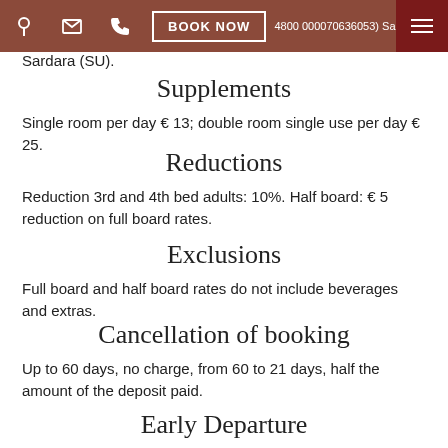Sardara (SU).
Supplements
Single room per day € 13; double room single use per day € 25.
Reductions
Reduction 3rd and 4th bed adults: 10%. Half board: € 5 reduction on full board rates.
Exclusions
Full board and half board rates do not include beverages and extras.
Cancellation of booking
Up to 60 days, no charge, from 60 to 21 days, half the amount of the deposit paid.
Early Departure